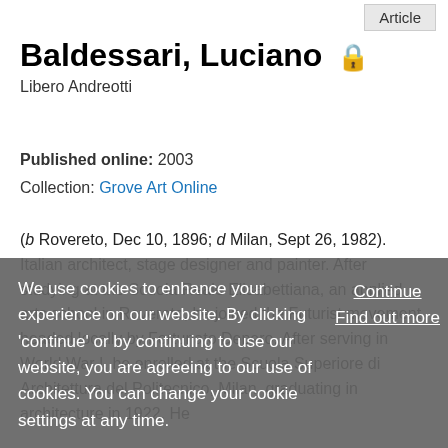Article
Baldessari, Luciano 🔒
Libero Andreotti
Published online: 2003
Collection: Grove Art Online
(b Rovereto, Dec 10, 1896; d Milan, Sept 26, 1982). Italian architect, stage designer and painter. After studying at the Scuola Reale Elisabettiana, an applied arts school in Rovereto, he joined the Futurist movement, headed locally by Fortunato Depero. After serving in World War I, he enrolled at the Scuola Superiore di Architettura del Politecnico, Milan, graduating in architecture in 1922. He
We use cookies to enhance your experience on our website. By clicking 'continue' or by continuing to use our website, you are agreeing to our use of cookies. You can change your cookie settings at any time.